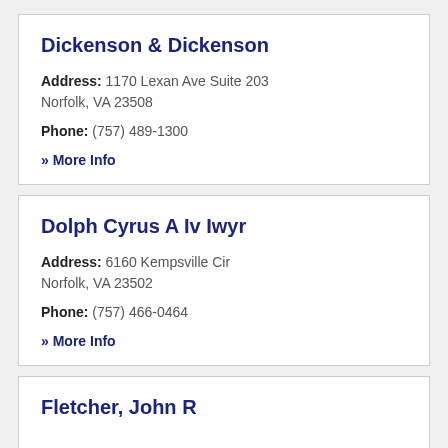Dickenson & Dickenson
Address: 1170 Lexan Ave Suite 203 Norfolk, VA 23508
Phone: (757) 489-1300
» More Info
Dolph Cyrus A Iv Iwyr
Address: 6160 Kempsville Cir Norfolk, VA 23502
Phone: (757) 466-0464
» More Info
Fletcher, John R